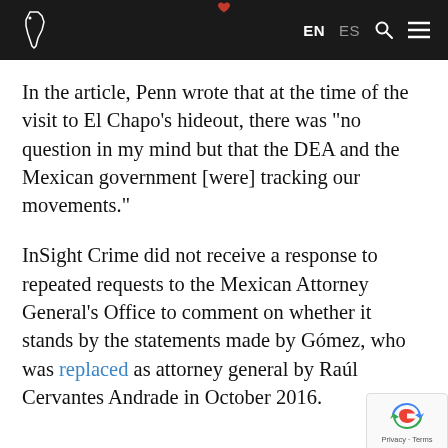EN ES
In the article, Penn wrote that at the time of the visit to El Chapo's hideout, there was "no question in my mind but that the DEA and the Mexican government [were] tracking our movements."
InSight Crime did not receive a response to repeated requests to the Mexican Attorney General's Office to comment on whether it stands by the statements made by Gómez, who was replaced as attorney general by Raúl Cervantes Andrade in October 2016.
SEE ALSO: Sinaloa Cartel News and Pr